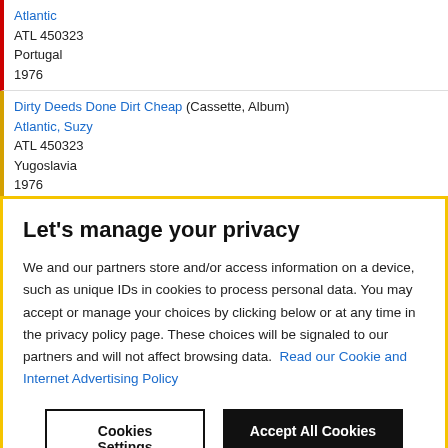Atlantic
ATL 450323
Portugal
1976
Dirty Deeds Done Dirt Cheap (Cassette, Album)
Atlantic, Suzy
ATL 450323
Yugoslavia
1976
Let's manage your privacy
We and our partners store and/or access information on a device, such as unique IDs in cookies to process personal data. You may accept or manage your choices by clicking below or at any time in the privacy policy page. These choices will be signaled to our partners and will not affect browsing data. Read our Cookie and Internet Advertising Policy
Cookies Settings | Accept All Cookies